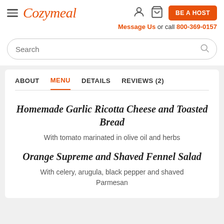Cozymeal — BE A HOST — Message Us or call 800-369-0157
Search
ABOUT  MENU  DETAILS  REVIEWS (2)
Homemade Garlic Ricotta Cheese and Toasted Bread
With tomato marinated in olive oil and herbs
Orange Supreme and Shaved Fennel Salad
With celery, arugula, black pepper and shaved Parmesan